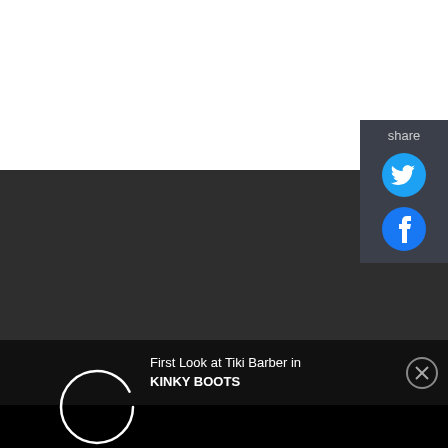[Figure (screenshot): White background area at top of page, likely a video or image placeholder]
[Figure (screenshot): Dark gray background area in middle of page, video player area]
[Figure (other): Share panel on right side with Twitter and Facebook icons and 'share' label]
First Look at Tiki Barber in KINKY BOOTS
[Figure (other): Loading spinner circle (white circle outline) on black background at bottom]